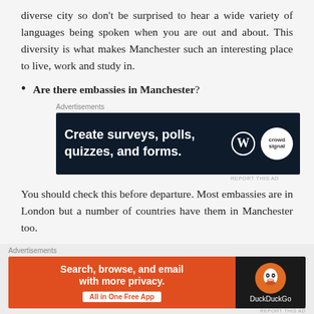diverse city so don't be surprised to hear a wide variety of languages being spoken when you are out and about. This diversity is what makes Manchester such an interesting place to live, work and study in.
Are there embassies in Manchester?
[Figure (screenshot): Advertisement banner: 'Create surveys, polls, quizzes, and forms.' with WordPress and CrowdSignal logos on dark navy background]
You should check this before departure. Most embassies are in London but a number of countries have them in Manchester too.
[Figure (screenshot): Advertisement banner: 'Search, browse, and email with more privacy. All in One Free App' DuckDuckGo ad with orange left panel and dark right panel with duck logo]